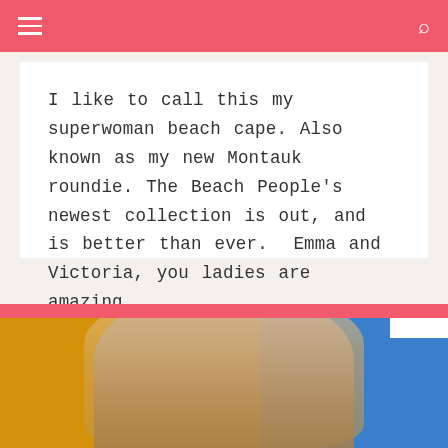I like to call this my superwoman beach cape. Also known as my new Montauk roundie. The Beach People's newest collection is out, and is better than ever.  Emma and Victoria, you ladies are amazing.
READ MORE
[Figure (photo): Bottom portion of page showing a woman with blonde hair wearing a necklace, against a yellow and blue background, partially visible from the shoulders up.]